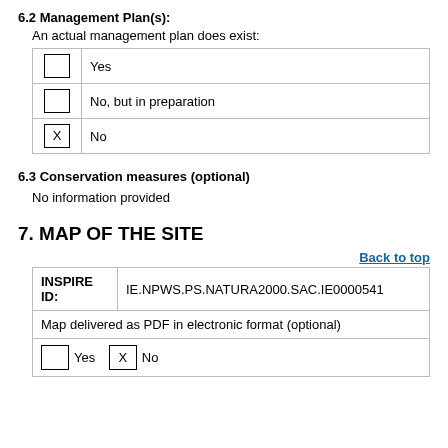6.2 Management Plan(s):
An actual management plan does exist:
|  | Option |
| --- | --- |
| [ ] | Yes |
| [ ] | No, but in preparation |
| [X] | No |
6.3 Conservation measures (optional)
No information provided
7. MAP OF THE SITE
Back to top
| INSPIRE ID: | IE.NPWS.PS.NATURA2000.SAC.IE0000541 |
| --- | --- |
| Map delivered as PDF in electronic format (optional) |  |
| [ ] Yes  [X] No |  |